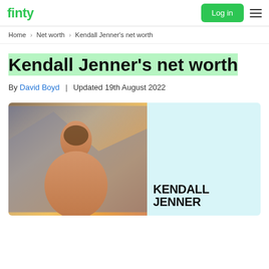finty | Log in
Home > Net worth > Kendall Jenner's net worth
Kendall Jenner's net worth
By David Boyd | Updated 19th August 2022
[Figure (photo): Photo of Kendall Jenner smiling, wearing an orange outfit, with a light teal background panel showing text KENDALL JENNER]